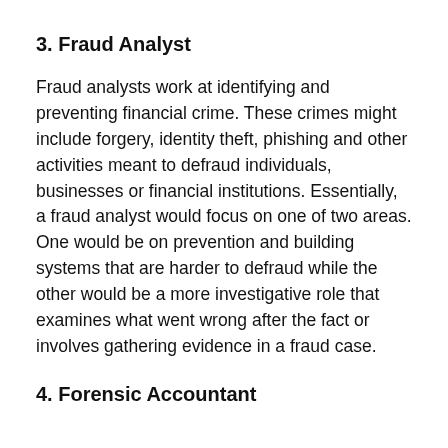3. Fraud Analyst
Fraud analysts work at identifying and preventing financial crime. These crimes might include forgery, identity theft, phishing and other activities meant to defraud individuals, businesses or financial institutions. Essentially, a fraud analyst would focus on one of two areas. One would be on prevention and building systems that are harder to defraud while the other would be a more investigative role that examines what went wrong after the fact or involves gathering evidence in a fraud case.
4. Forensic Accountant